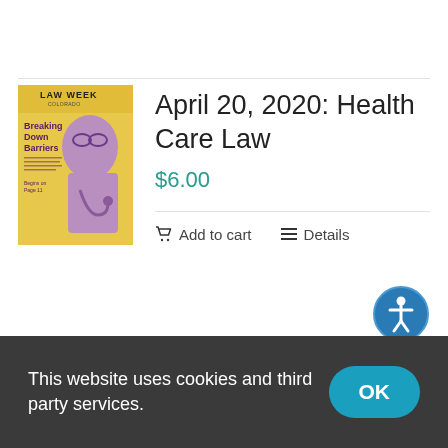[Figure (illustration): Law Week Colorado magazine cover titled 'Breaking Down Barriers' with yellow and purple color scheme, showing a person in medical attire with stethoscope]
April 20, 2020: Health Care Law
$6.00
Add to cart
Details
This website uses cookies and third party services.